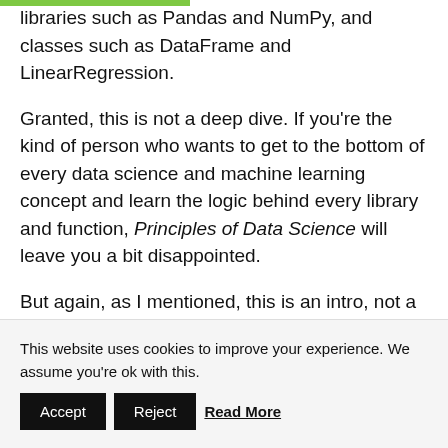libraries such as Pandas and NumPy, and classes such as DataFrame and LinearRegression.
Granted, this is not a deep dive. If you're the kind of person who wants to get to the bottom of every data science and machine learning concept and learn the logic behind every library and function, Principles of Data Science will leave you a bit disappointed.
But again, as I mentioned, this is an intro, not a book that will put you on a data science career
This website uses cookies to improve your experience. We assume you're ok with this. Accept Reject Read More